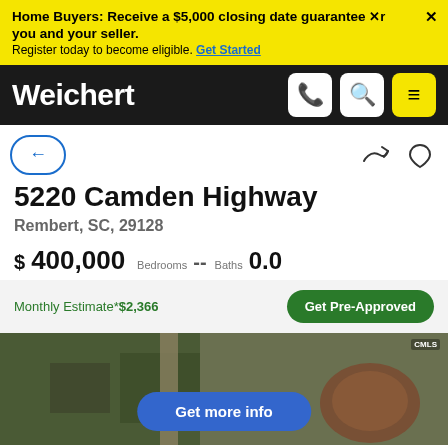Home Buyers: Receive a $5,000 closing date guarantee for you and your seller. Register today to become eligible. Get Started
[Figure (logo): Weichert real estate logo in white on black navbar with phone, search, and menu icons]
5220 Camden Highway
Rembert, SC, 29128
$ 400,000  Bedrooms -- Baths 0.0
Monthly Estimate*$2,366
[Figure (photo): Aerial satellite photo of property at 5220 Camden Highway with Get more info button overlay]